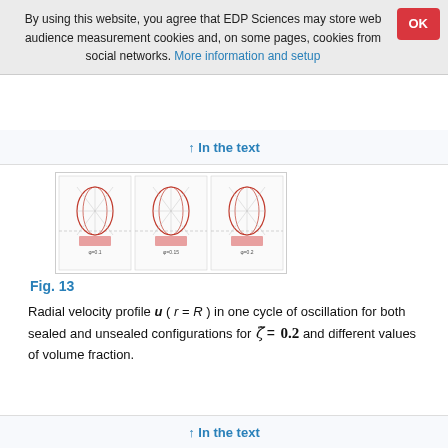By using this website, you agree that EDP Sciences may store web audience measurement cookies and, on some pages, cookies from social networks. More information and setup
↑ In the text
[Figure (illustration): Three panels showing radial velocity profile polar plots for sealed and unsealed configurations]
Fig. 13
Radial velocity profile u ( r = R ) in one cycle of oscillation for both sealed and unsealed configurations for ζ̃ = 0.2 and different values of volume fraction.
↑ In the text